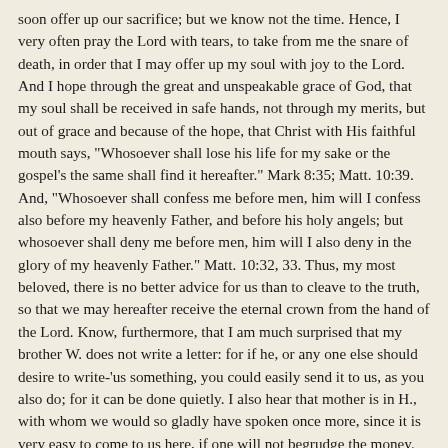soon offer up our sacrifice; but we know not the time. Hence, I very often pray the Lord with tears, to take from me the snare of death, in order that I may offer up my soul with joy to the Lord. And I hope through the great and unspeakable grace of God, that my soul shall be received in safe hands, not through my merits, but out of grace and because of the hope, that Christ with His faithful mouth says, "Whosoever shall lose his life for my sake or the gospel's the same shall find it hereafter." Mark 8:35; Matt. 10:39. And, "Whosoever shall confess me before men, him will I confess also before my heavenly Father, and before his holy angels; but whosoever shall deny me before men, him will I also deny in the glory of my heavenly Father." Matt. 10:32, 33. Thus, my most beloved, there is no better advice for us than to cleave to the truth, so that we may hereafter receive the eternal crown from the hand of the Lord. Know, furthermore, that I am much surprised that my brother W. does not write a letter: for if he, or any one else should desire to write-'us something, you could easily send it to us, as you also do; for it can be done quietly. I also hear that mother is in H., with whom we would so gladly have spoken once more, since it is very easy to come to us here, if one will not begrudge the money. For though the lord does not come into the prison, he does not trouble himself with anything but simply that for which he comes. Furthermore, my beloved, J. de B. told me